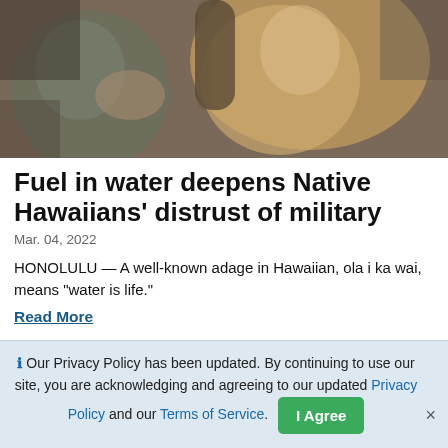[Figure (photo): A person with long blonde hair and braided accessories at what appears to be a protest or gathering, with another person in military-style clothing visible in the background.]
Fuel in water deepens Native Hawaiians' distrust of military
Mar. 04, 2022
HONOLULU — A well-known adage in Hawaiian, ola i ka wai, means “water is life.”
Read More
Our Privacy Policy has been updated. By continuing to use our site, you are acknowledging and agreeing to our updated Privacy Policy and our Terms of Service.